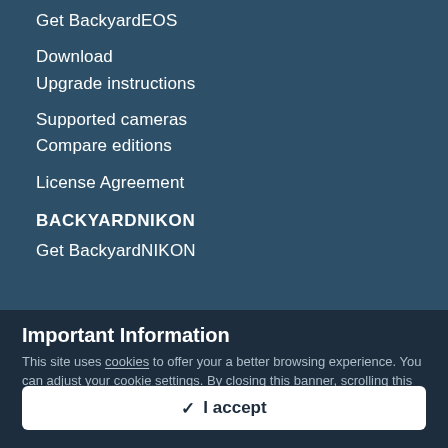Get BackyardEOS
Download
Upgrade instructions
Supported cameras
Compare editions
License Agreement
BACKYARDNIKON
Get BackyardNIKON
Important Information
This site uses cookies to offer your a better browsing experience. You can adjust your cookie settings. By closing this banner, scrolling this page, clicking a link or continuing to browse otherwise, you agree to the use of cookies, our Privacy Policy, and our Terms of Use
✓  I accept